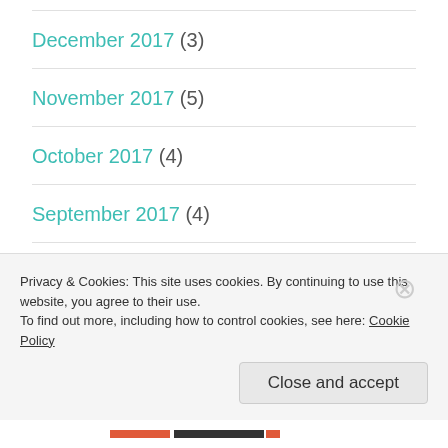December 2017 (3)
November 2017 (5)
October 2017 (4)
September 2017 (4)
August 2017 (5)
July 2017 (4)
Privacy & Cookies: This site uses cookies. By continuing to use this website, you agree to their use.
To find out more, including how to control cookies, see here: Cookie Policy
Close and accept